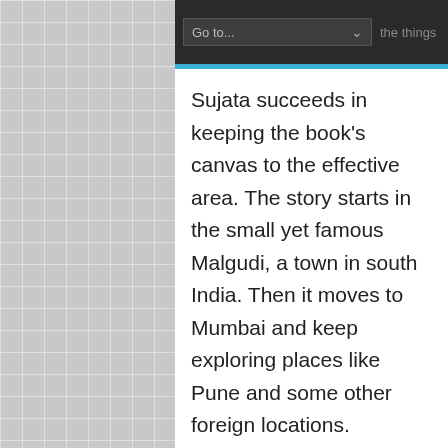Go to...
Sujata succeeds in keeping the book’s canvas to the effective area. The story starts in the small yet famous Malgudi, a town in south India. Then it moves to Mumbai and keep exploring places like Pune and some other foreign locations.
It is evident that Sujata is a scholar... accept on more e.g. any areas. Sometimes you feel that you are reading ... well-present neven in terms of det... you will surely ... tween Vedika and Manant. Vedika’s factual
This website intends to use cookies to improve the site and your experience. By continuing to browse the site you are agreeing to accept our use of cookies.
Privacy Preferences
I Agree